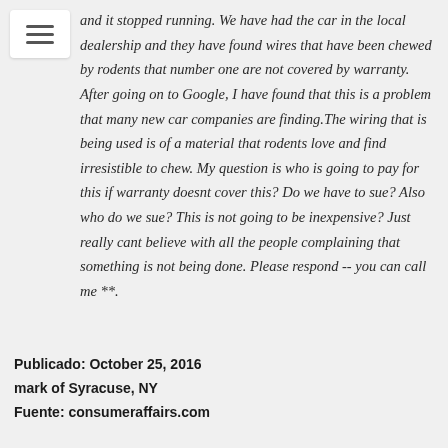and it stopped running. We have had the car in the local dealership and they have found wires that have been chewed by rodents that number one are not covered by warranty. After going on to Google, I have found that this is a problem that many new car companies are finding.The wiring that is being used is of a material that rodents love and find irresistible to chew. My question is who is going to pay for this if warranty doesnt cover this? Do we have to sue? Also who do we sue? This is not going to be inexpensive? Just really cant believe with all the people complaining that something is not being done. Please respond -- you can call me **.
Publicado: October 25, 2016
mark of Syracuse, NY
Fuente: consumeraffairs.com